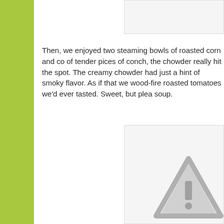[Figure (photo): Partial image box at top right, appears cropped]
Then, we enjoyed two steaming bowls of roasted corn and co of tender pices of conch, the chowder really hit the spot. The creamy chowder had just a hint of smoky flavor. As if that we wood-fire roasted tomatoes we'd ever tasted. Sweet, but plea soup.
[Figure (photo): Partial image box at bottom right with a gray warning/caution triangle icon visible in lower right corner]